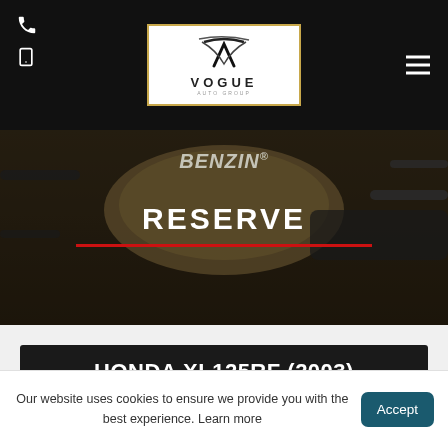Vogue Auto Group
[Figure (screenshot): Motorcycle close-up showing Benzin branded fuel tank in dark golden/brown tone]
RESERVE
HONDA XL125RF (2003)
XR 125 L-3
Our website uses cookies to ensure we provide you with the best experience. Learn more